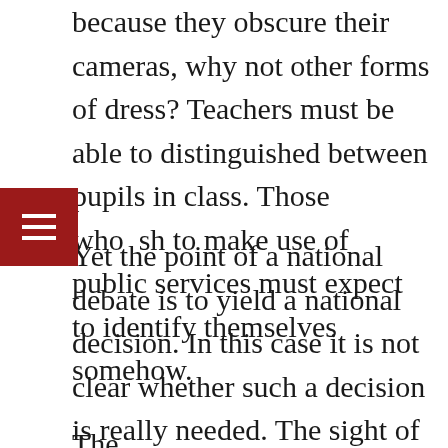because they obscure their cameras, why not other forms of dress? Teachers must be able to distinguished between pupils in class. Those who wish to make use of public services must expect to identify themselves somehow.
Yet the point of a national debate is to yield a national decision. In this case it is not clear whether such a decision is really needed. The sight of totally hooded people wandering the streets may spook some people and can sometimes pose a security threat to police but it is hardly widespread or a menace to the state and society. Blind people manage without being able to see the people with whom they deal.
The...